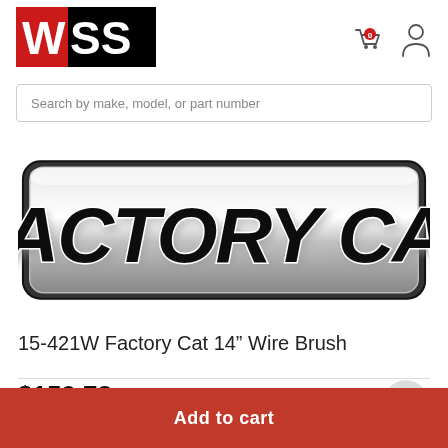[Figure (logo): WSS logo — white letters W S S on a black and red background rectangle]
[Figure (illustration): Factory Cat brand logo in chrome/black italic bold lettering on white background]
Search by make, model, or part number
15-421W Factory Cat 14" Wire Brush
$159.78
Add to cart